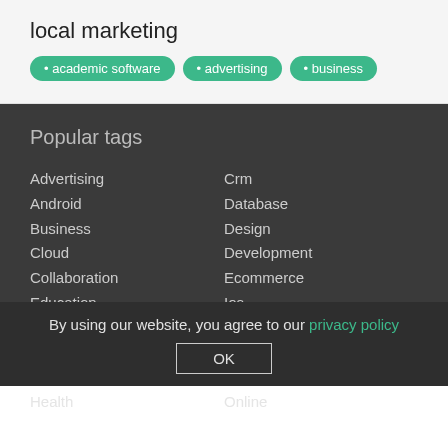local marketing
• academic software
• advertising
• business
Popular tags
Advertising
Android
Business
Cloud
Collaboration
Education
Email
Facebook
Game
Health
Crm
Database
Design
Development
Ecommerce
Ios
Iphone
Management
Marketing
Online
By using our website, you agree to our privacy policy
OK